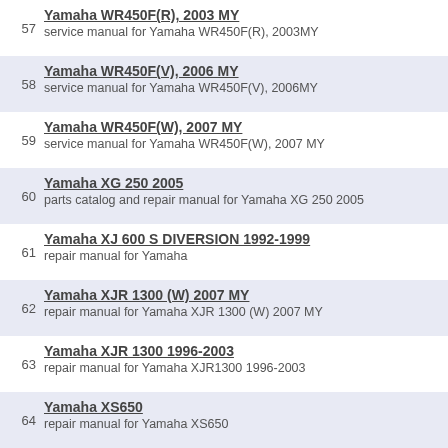57 Yamaha WR450F(R), 2003 MY
service manual for Yamaha WR450F(R), 2003MY
58 Yamaha WR450F(V), 2006 MY
service manual for Yamaha WR450F(V), 2006MY
59 Yamaha WR450F(W), 2007 MY
service manual for Yamaha WR450F(W), 2007 MY
60 Yamaha XG 250 2005
parts catalog and repair manual for Yamaha XG 250 2005
61 Yamaha XJ 600 S DIVERSION 1992-1999
repair manual for Yamaha
62 Yamaha XJR 1300 (W) 2007 MY
repair manual for Yamaha XJR 1300 (W) 2007 MY
63 Yamaha XJR 1300 1996-2003
repair manual for Yamaha XJR1300 1996-2003
64 Yamaha XS650
repair manual for Yamaha XS650